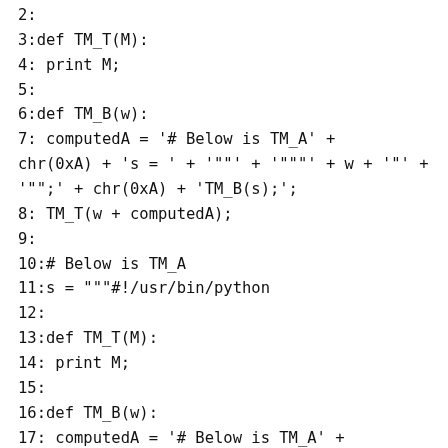1:#!/usr/bin/python
2:
3:def TM_T(M):
4: print M;
5:
6:def TM_B(w):
7: computedA = '# Below is TM_A' +
chr(0xA) + 's = ' + '"""' + w + '"' +
'""';' + chr(0xA) + 'TM_B(s);';
8: TM_T(w + computedA);
9:
10:# Below is TM_A
11:s = """#!/usr/bin/python
12:
13:def TM_T(M):
14: print M;
15:
16:def TM_B(w):
17: computedA = '# Below is TM_A' +